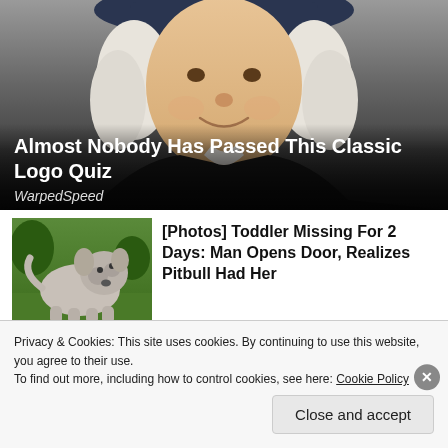[Figure (photo): Portrait illustration of a historical figure wearing a dark coat and white wig with black hat, smiling]
Almost Nobody Has Passed This Classic Logo Quiz
WarpedSpeed
[Figure (photo): Photo of a white/grey pitbull dog sitting on grass]
[Photos] Toddler Missing For 2 Days: Man Opens Door, Realizes Pitbull Had Her
Privacy & Cookies: This site uses cookies. By continuing to use this website, you agree to their use.
To find out more, including how to control cookies, see here: Cookie Policy